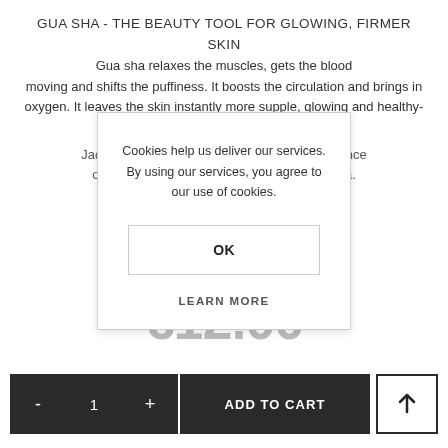GUA SHA - THE BEAUTY TOOL FOR GLOWING, FIRMER SKIN
Gua sha relaxes the muscles, gets the blood moving and shifts the puffiness. It boosts the circulation and brings in oxygen. It leaves the skin instantly more supple, glowing and healthy-looking.
Jade Ne... balance of ene... hakra.
Cookies help us deliver our services. By using our services, you agree to our use of cookies.
OK
LEARN MORE
€12.00
- 1 + ADD TO CART